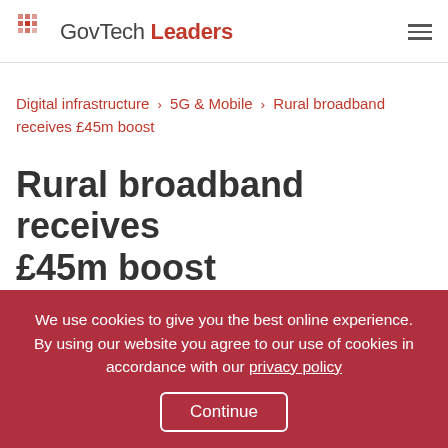GovTech Leaders
Digital infrastructure > 5G & Mobile > Rural broadband receives £45m boost
Rural broadband receives £45m boost
Money will be made available through grants to local authorities
We use cookies to give you the best online experience. By using our website you agree to our use of cookies in accordance with our privacy policy